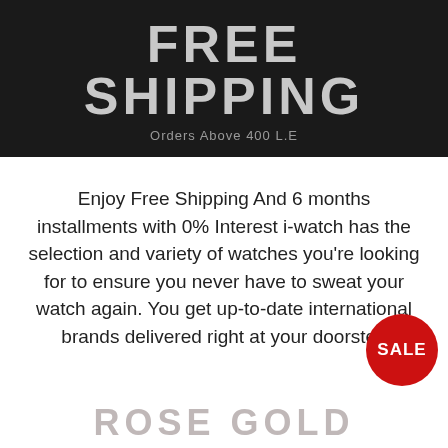FREE SHIPPING
Orders Above 400 L.E
Enjoy Free Shipping And 6 months installments with 0% Interest i-watch has the selection and variety of watches you're looking for to ensure you never have to sweat your watch again. You get up-to-date international brands delivered right at your doorstep
[Figure (other): Red circular SALE badge]
ROSE GOLD LOVERS
≡  MENU